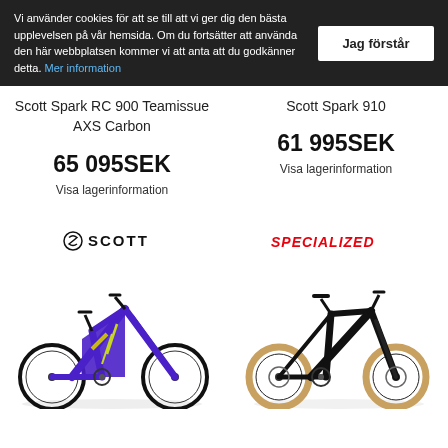Vi använder cookies för att se till att vi ger dig den bästa upplevelsen på vår hemsida. Om du fortsätter att använda den här webbplatsen kommer vi att anta att du godkänner detta. Mer information
Jag förstår
Scott Spark RC 900 Teamissue AXS Carbon
Scott Spark 910
65 095SEK
Visa lagerinformation
61 995SEK
Visa lagerinformation
[Figure (logo): Scott brand logo with stylized S icon]
[Figure (logo): Specialized brand logo in red italic text]
[Figure (photo): Scott full-suspension mountain bike in purple and yellow/green color scheme]
[Figure (photo): Specialized hardtail mountain bike in black with tan/brown tires]